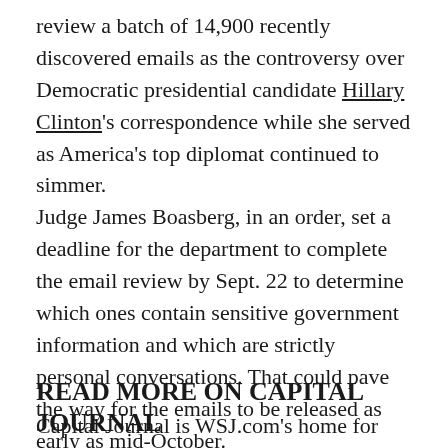review a batch of 14,900 recently discovered emails as the controversy over Democratic presidential candidate Hillary Clinton's correspondence while she served as America's top diplomat continued to simmer. Judge James Boasberg, in an order, set a deadline for the department to complete the email review by Sept. 22 to determine which ones contain sensitive government information and which are strictly personal conversations. That could pave the way for the emails to be released as early as mid-October. The emails were found by the Federal Bureau of Investigation during its probe of Mrs. Clinton's use of private email when she was secretary of state. The FBI concluded in July that no crimes had been committed.
READ MORE ON CAPITAL JOURNAL
Capital Journal is WSJ.com's home for Election